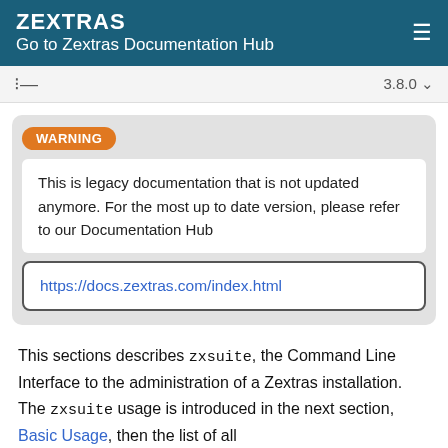ZEXTRAS
Go to Zextras Documentation Hub
3.8.0
WARNING
This is legacy documentation that is not updated anymore. For the most up to date version, please refer to our Documentation Hub
https://docs.zextras.com/index.html
This sections describes zxsuite, the Command Line Interface to the administration of a Zextras installation. The zxsuite usage is introduced in the next section, Basic Usage, then the list of all